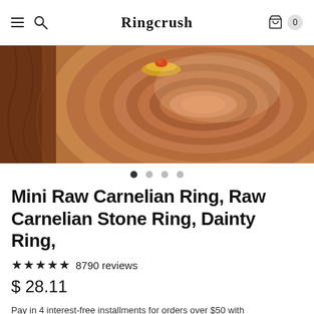Ringcrush — navigation header with hamburger menu, search, and cart (0 items)
[Figure (photo): Product photo: a ring with an orange carnelian stone resting on a wooden slice/log cross-section, close-up view]
Mini Raw Carnelian Ring, Raw Carnelian Stone Ring, Dainty Ring,
★★★★★ 8790 reviews
$ 28.11
Pay in 4 interest-free installments for orders over $50 with shop Pay  Learn more